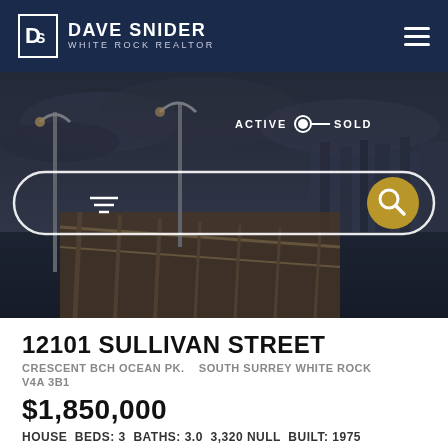Dave Snider White Rock Realtor
[Figure (photo): Hero image of White Rock pier/boardwalk at dusk with moody cloudy sky, street lamps, and waterfront hillside in background. Overlays include ACTIVE/SOLD toggle switch and a rounded search bar with filter icon and gold magnifying glass button.]
12101 SULLIVAN STREET
CRESCENT BCH OCEAN PK.    SOUTH SURREY WHITE ROCK
V4A 3B1
$1,850,000
HOUSE  BEDS: 3  BATHS: 3.0  3,320 NULL  BUILT: 1975